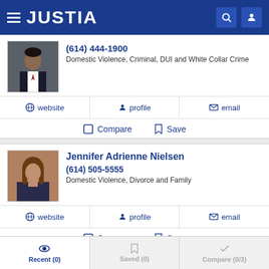JUSTIA
(614) 444-1900
Domestic Violence, Criminal, DUI and White Collar Crime
website  profile  email
Compare  Save
Jennifer Adrienne Nielsen
(614) 505-5555
Domestic Violence, Divorce and Family
website  profile  email
Compare  Save
Recent (0)  Saved (0)  Compare (0/3)